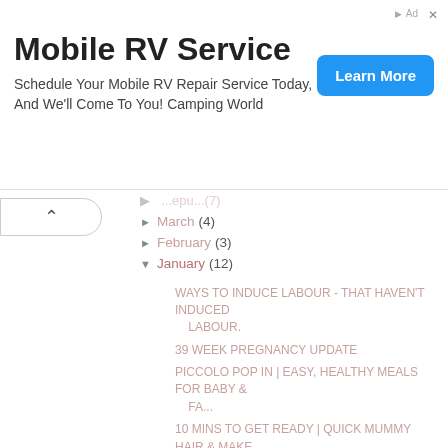[Figure (other): Advertisement banner for Mobile RV Service by Camping World with a Learn More button]
March (4)
February (3)
January (12)
WAYS TO INDUCE LABOUR - THAT HAVEN'T INDUCED LABOUR.
39 WEEK PREGNANCY UPDATE
PICCOLO POP IN | EASY, HEALTHY MEALS FOR BABY & FA...
10 MINS TO GET READY | QUICK MUMMY HAIR & MAKE UP...
6 THINGS I'M NOT LOOKING FORWARD TO POSTPARTUM
37 WEEK PREGNANCY UPDATE
BABY PRODUCTS I REGRET BUYING
NUBY NATURAL TOUCH STERILISER & DRYER
WHAT'S IN MY HOSPITAL BAG?
BLOOM AND BLOSSOM
SNUZPOD UNBOXING & ASSEMBLY
35 WEEK PREGNANCY UPDATE | WILL I NEED A C-SECTION?